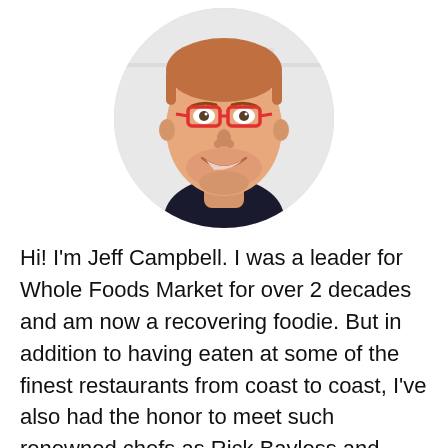[Figure (photo): Circular cropped headshot of Jeff Campbell, a smiling man with reddish stubble beard wearing red-framed glasses and a dark navy t-shirt, photographed against a light background.]
Hi! I'm Jeff Campbell. I was a leader for Whole Foods Market for over 2 decades and am now a recovering foodie. But in addition to having eaten at some of the finest restaurants from coast to coast, I've also had the honor to meet such renowned chefs as Rick Bayless and Hubert Keller and taken cooking classes from Stephan Pyles. When I'm not spending time with my 3 daughters, I